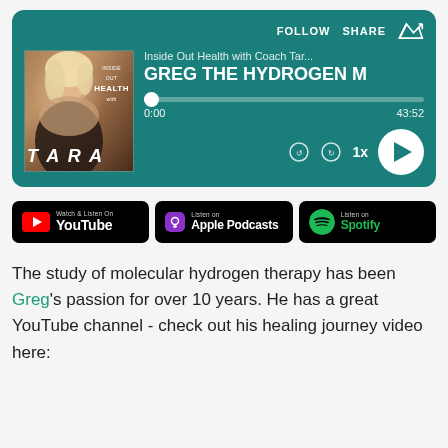[Figure (screenshot): Podcast player widget for 'Inside Out Health with Coach Tara' showing episode 'GREG THE HYDROGEN M...' with teal background, album art featuring a woman with blonde hair, progress bar at 0:00/43:52, playback controls at 1x speed]
[Figure (screenshot): Three platform badges: Watch & Listen on YouTube, Listen on Apple Podcasts, Listen on Spotify]
The study of molecular hydrogen therapy has been Greg's passion for over 10 years. He has a great YouTube channel - check out his healing journey video here: